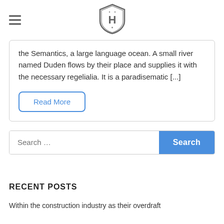[Figure (logo): Shield/badge logo with letter H in center, Warner Bros style, gray outline]
the Semantics, a large language ocean. A small river named Duden flows by their place and supplies it with the necessary regelialia. It is a paradisematic [...]
Read More
Search …
RECENT POSTS
Within the construction industry as their overdraft